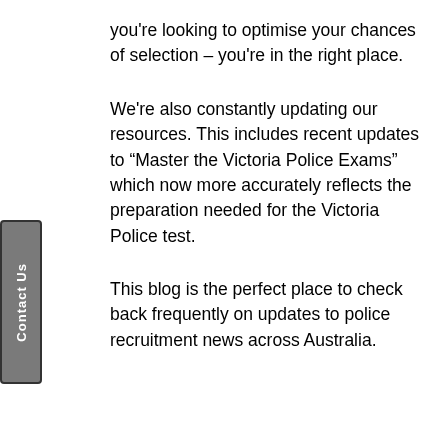you're looking to optimise your chances of selection – you're in the right place.
We're also constantly updating our resources. This includes recent updates to “Master the Victoria Police Exams” which now more accurately reflects the preparation needed for the Victoria Police test.
This blog is the perfect place to check back frequently on updates to police recruitment news across Australia.